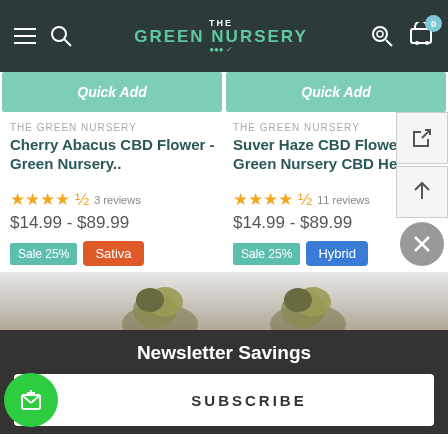THE GREEN NURSERY — navigation bar
Quick Add | Quick Add
THE GREEN NURSERY
Cherry Abacus CBD Flower - Green Nursery..
★★★★½ 3 reviews
$14.99 - $89.99
Sale 25% | Sativa
THE GREEN NURSERY
Suver Haze CBD Flower - Green Nursery CBD He...
★★★★½ 11 reviews
$14.99 - $89.99
Sale 25% | Hybrid
Newsletter Savings
SUBSCRIBE